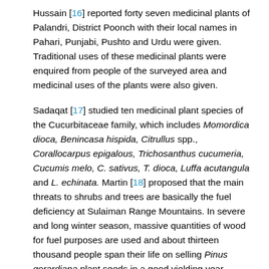Hussain [16] reported forty seven medicinal plants of Palandri, District Poonch with their local names in Pahari, Punjabi, Pushto and Urdu were given. Traditional uses of these medicinal plants were enquired from people of the surveyed area and medicinal uses of the plants were also given.
Sadaqat [17] studied ten medicinal plant species of the Cucurbitaceae family, which includes Momordica dioca, Benincasa hispida, Citrullus spp., Corallocarpus epigalous, Trichosanthus cucumeria, Cucumis melo, C. sativus, T. dioca, Luffa acutangula and L. echinata. Martin [18] proposed that the main threats to shrubs and trees are basically the fuel deficiency at Sulaiman Range Mountains. In severe and long winter season, massive quantities of wood for fuel purposes are used and about thirteen thousand people span their life on selling Pinus gerardiana plant seeds in a good yielding year.
Flora of Dabargai hills, Swat was studied by Khaliq [19]